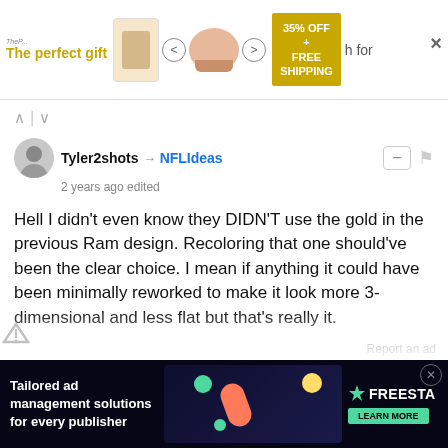[Figure (screenshot): Top advertisement banner for a gift product with 35% OFF and FREE SHIPPING offer]
↑ | ↓
Tyler2shots → NFLIdeas
2 years ago edited

Hell I didn't even know they DIDN'T use the gold in the previous Ram design. Recoloring that one should've been the clear choice. I mean if anything it could have been minimally reworked to make it look more 3-dimensional and less flat but that's really it.
↑ | ↓
NFLIdeas → Tyler2shots
2 years ago

Or the horns with the slightest bit of interesting detail, and golden eyes
[Figure (screenshot): Bottom advertisement banner for Freestar tailored ad management solutions for publishers]